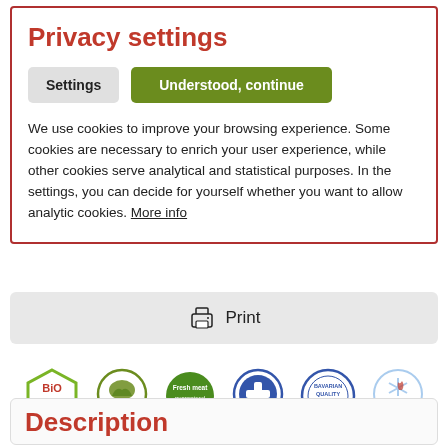Privacy settings
Settings  |  Understood, continue
We use cookies to improve your browsing experience. Some cookies are necessary to enrich your user experience, while other cookies serve analytical and statistical purposes. In the settings, you can decide for yourself whether you want to allow analytic cookies. More info
Print
[Figure (logo): Six product certification badges: BiO (EU-Bio-Verordnung), Nature 100%, Fresh meat guaranteed, Sensitiv (plus symbol), Bavarian Quality, Freeze-Dried]
Description